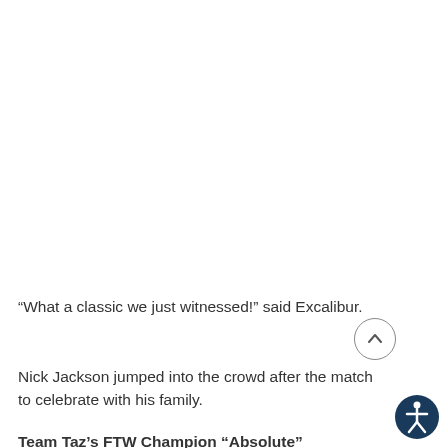“What a classic we just witnessed!” said Excalibur.
Nick Jackson jumped into the crowd after the match to celebrate with his family.
Team Taz’s FTW Champion “Absolute”